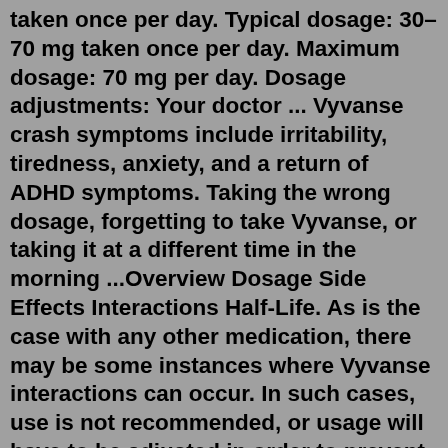taken once per day. Typical dosage: 30–70 mg taken once per day. Maximum dosage: 70 mg per day. Dosage adjustments: Your doctor ... Vyvanse crash symptoms include irritability, tiredness, anxiety, and a return of ADHD symptoms. Taking the wrong dosage, forgetting to take Vyvanse, or taking it at a different time in the morning ...Overview Dosage Side Effects Interactions Half-Life. As is the case with any other medication, there may be some instances where Vyvanse interactions can occur. In such cases, use is not recommended, or usage will have to be adjusted in order to prevent or reduce the risk of negative interactions occurring from other drugs, medical conditions ...Dosage . Vyvanse comes as a capsule or a chewable tablet. The whole capsule or tablet should be taken, do not divide the dose. The recommended starting dose for both BED and ADHD, for adults and children, is 30 milligrams (mg) per day. The maximum dose is 70 mg per day. For BED, your dose will be increased on a weekly basis with the recommended... Stimulants, such as